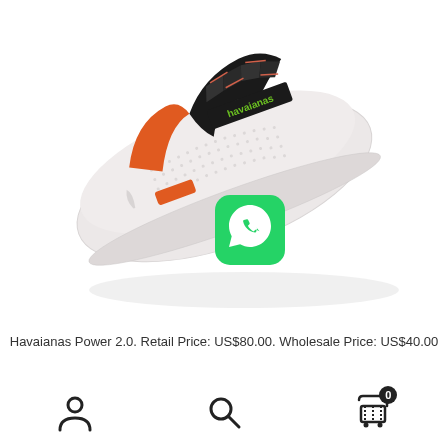[Figure (photo): Havaianas Power 2.0 flip flop sandal with white sole, orange strap accent, and black braided thong with green Havaianas logo text. A WhatsApp icon is overlaid on the bottom right of the sandal.]
Havaianas Power 2.0. Retail Price: US$80.00. Wholesale Price: US$40.00
[Figure (infographic): Bottom navigation bar with user/account icon, search icon, and shopping cart icon with badge showing 0]